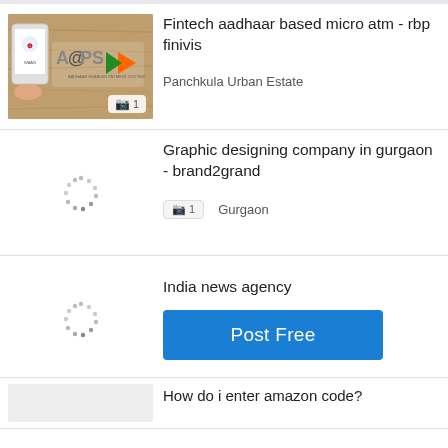[Figure (photo): AEPS (Aadhaar Enabled Payment System) branded image showing a smartphone and logo on wooden background]
Fintech aadhaar based micro atm - rbp finivis
Panchkula Urban Estate
[Figure (photo): Loading spinner placeholder for second listing image]
Graphic designing company in gurgaon - brand2grand
📷 1   Gurgaon
India news agency
[Figure (photo): Loading spinner placeholder for third listing image]
Post Free
How do i enter amazon code?